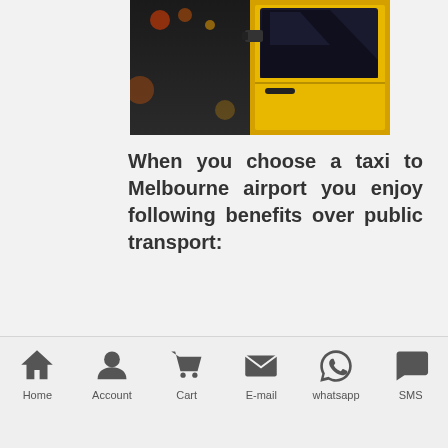[Figure (photo): Photo of a yellow taxi cab door with city traffic lights in the background at night]
When you choose a taxi to Melbourne airport you enjoy following benefits over public transport:
Higher comfortability as you travel in a well-maintained taxi.
Professional drivers chauffeuring you through the best routes.
Home | Account | Cart | E-mail | whatsapp | SMS